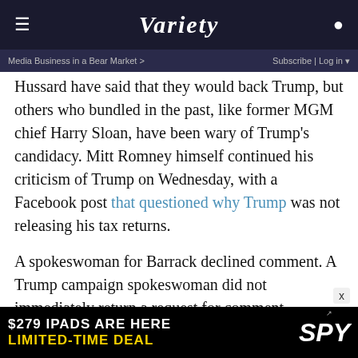VARIETY
Media Business in a Bear Market > | Subscribe | Log in
Hussard have said that they would back Trump, but others who bundled in the past, like former MGM chief Harry Sloan, have been wary of Trump’s candidacy. Mitt Romney himself continued his criticism of Trump on Wednesday, with a Facebook post that questioned why Trump was not releasing his tax returns.
A spokeswoman for Barrack declined comment. A Trump campaign spokeswoman did not immediately return a request for comment.
It’s expected that the Trump campaign will join with the Republican National Committee for a joint fundraising operation that will allow donors to contribute more than the $2,700 limit to the candidate. Clinton has already formed a
[Figure (advertisement): $279 IPADS ARE HERE LIMITED-TIME DEAL - SPY advertisement]